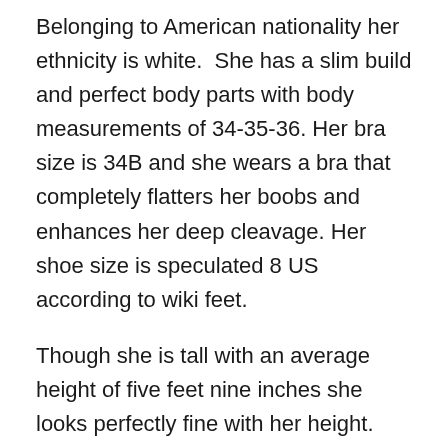Belonging to American nationality her ethnicity is white.  She has a slim build and perfect body parts with body measurements of 34-35-36. Her bra size is 34B and she wears a bra that completely flatters her boobs and enhances her deep cleavage. Her shoe size is speculated 8 US according to wiki feet.
Though she is tall with an average height of five feet nine inches she looks perfectly fine with her height. Her weight is just 57 kg. Her eye color is blue and that is beautiful with very size.  Her figure is well maintained so she looks perfect in every dress as well as she has long and skinny legs. The bikini suits her; she looks very hot and sexy in the bikini.
King was born in Omaha, Nebraska she has a good